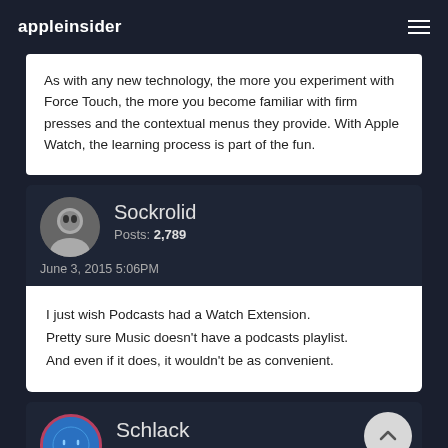appleinsider
As with any new technology, the more you experiment with Force Touch, the more you become familiar with firm presses and the contextual menus they provide. With Apple Watch, the learning process is part of the fun.
Sockrolid
Posts: 2,789
June 3, 2015 5:06PM
I just wish Podcasts had a Watch Extension.
Pretty sure Music doesn't have a podcasts playlist.
And even if it does, it wouldn't be as convenient.
Schlack
Posts: 711